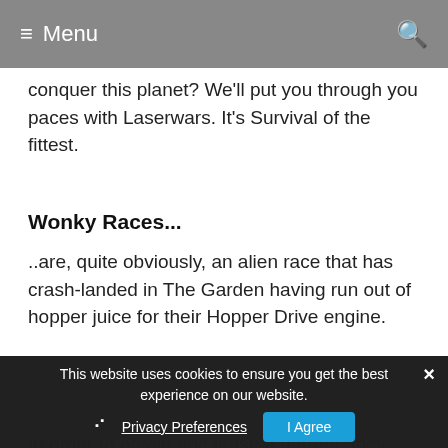Menu
conquer this planet? We'll put you through you paces with Laserwars. It's Survival of the fittest.
Wonky Races...
..are, quite obviously, an alien race that has crash-landed in The Garden having run out of hopper juice for their Hopper Drive engine.
In order to obtain and lease a garden, they must ask permission to commence mining the planet for the resource right under your feet. Space Hoppers. They will of course be seeking the appropriate
This website uses cookies to ensure you get the best experience on our website.
Privacy Preferences
I Agree